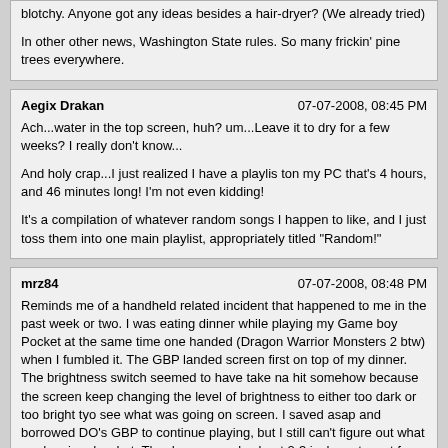blotchy. Anyone got any ideas besides a hair-dryer? (We already tried)

In other other news, Washington State rules. So many frickin' pine trees everywhere.
Aegix Drakan	07-07-2008, 08:45 PM
Ach...water in the top screen, huh? um...Leave it to dry for a few weeks? I really don't know...

And holy crap...I just realized I have a playlis ton my PC that's 4 hours, and 46 minutes long! I'm not even kidding!

It's a compilation of whatever random songs I happen to like, and I just toss them into one main playlist, appropriately titled "Random!"
mrz84	07-07-2008, 08:48 PM
Reminds me of a handheld related incident that happened to me in the past week or two. I was eating dinner while playing my Game boy Pocket at the same time one handed (Dragon Warrior Monsters 2 btw) when I fumbled it. The GBP landed screen first on top of my dinner. The brightness switch seemed to have take na hit somehow because the screen keep changing the level of brightness to either too dark or too bright tyo see what was going on screen. I saved asap and borrowed DO's GBP to continue playing, but I still can't figure out what made mine do what. The drop was only about 2-3 inches at most from my hand to my food. I also cleaned the sucker soon it looked ALMOST brand new save for the faded sticker on the back.

Anyways, long story short. I'm out a GBP. Make me wish I got a GBA SP instead of the Micro now. :sweat:

As for your situation, can't help you I'm afraid since I've only played the demo DS games at Wal-Mart whenever I was bored. Good luck with that though.
:kitty: